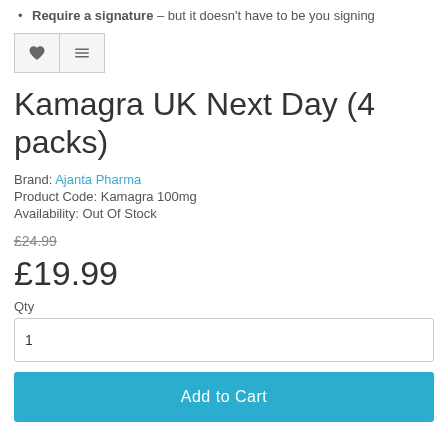Require a signature – but it doesn't have to be you signing
[Figure (other): Heart and compare icon buttons (wishlist/compare UI controls)]
Kamagra UK Next Day (4 packs)
Brand: Ajanta Pharma
Product Code: Kamagra 100mg
Availability: Out Of Stock
£24.99 (strikethrough)
£19.99
Qty
1 (quantity input field)
Add to Cart